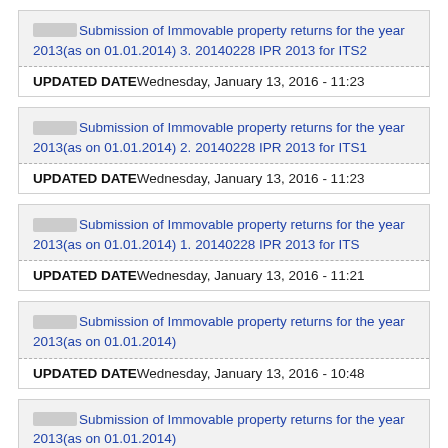□□□□□□Submission of Immovable property returns for the year 2013(as on 01.01.2014) 3. 20140228 IPR 2013 for ITS2
UPDATED DATE Wednesday, January 13, 2016 - 11:23
□□□□□□Submission of Immovable property returns for the year 2013(as on 01.01.2014) 2. 20140228 IPR 2013 for ITS1
UPDATED DATE Wednesday, January 13, 2016 - 11:23
□□□□□□Submission of Immovable property returns for the year 2013(as on 01.01.2014) 1. 20140228 IPR 2013 for ITS
UPDATED DATE Wednesday, January 13, 2016 - 11:21
□□□□□□Submission of Immovable property returns for the year 2013(as on 01.01.2014)
UPDATED DATE Wednesday, January 13, 2016 - 10:48
□□□□□□Submission of Immovable property returns for the year 2013(as on 01.01.2014)